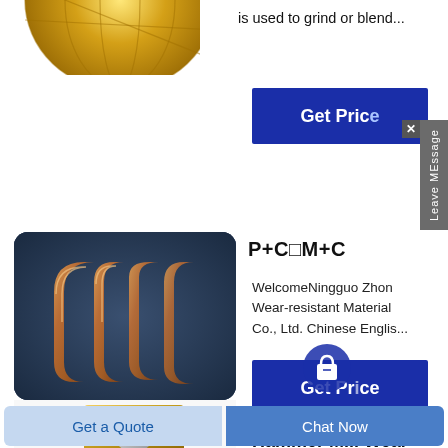is used to grind or blend...
[Figure (photo): Partial view of a gold decorative ball/sphere at the top left]
[Figure (other): Dark blue 'Get Price' button (top)]
[Figure (other): Leave MEssage vertical sidebar tab with X close button]
[Figure (photo): Copper/bronze curved wear parts on dark blue background]
P+C□M+C
WelcomeNingguo Zhon Wear-resistant Material Co., Ltd. Chinese Englis...
[Figure (other): Dark blue 'Get Price' button (bottom) with shopping bag icon overlay]
Hammer Mill Wear Plates
[Figure (photo): Partial view of a golden/brass hammer mill wear plate]
Get a Quote
Chat Now